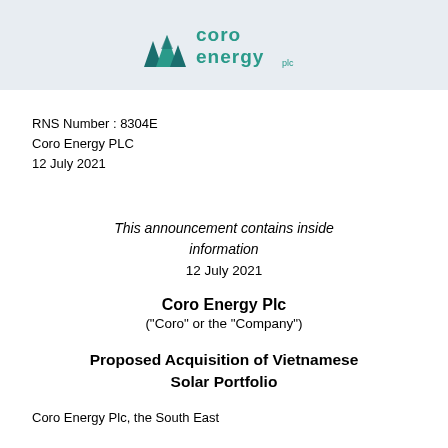[Figure (logo): Coro Energy plc logo — teal/dark teal triangular mountain icon on the left, with 'coro energy plc' text on the right in teal, on a light grey background header bar]
RNS Number : 8304E
Coro Energy PLC
12 July 2021
This announcement contains inside information
12 July 2021
Coro Energy Plc
("Coro" or the "Company")
Proposed Acquisition of Vietnamese Solar Portfolio
Coro Energy Plc, the South East